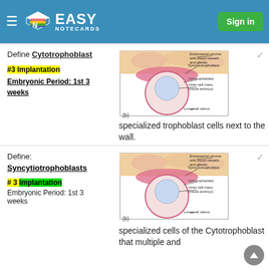EASY NOTECARDS — Sign in
Define Cytotrophoblast
#3 Implantation
Embryonic Period: 1st 3 weeks
[Figure (illustration): Anatomical diagram of blastocyst implantation showing Endometrial stroma with blood vessels and glands, Syncytiotrophoblast, Cytotrophoblast, Inner cell mass (future embryo), and Lumen of uterus. Labeled (b).]
specialized trophoblast cells next to the wall.
Define: Syncytiotrophoblasts
# 3 Implantation
Embryonic Period: 1st 3 weeks
[Figure (illustration): Anatomical diagram of blastocyst implantation showing Endometrial stroma with blood vessels and glands, Syncytiotrophoblast, Cytotrophoblast, Inner cell mass (future embryo), and Lumen of uterus. Labeled (b).]
specialized cells of the Cytotrophoblast that multiple and